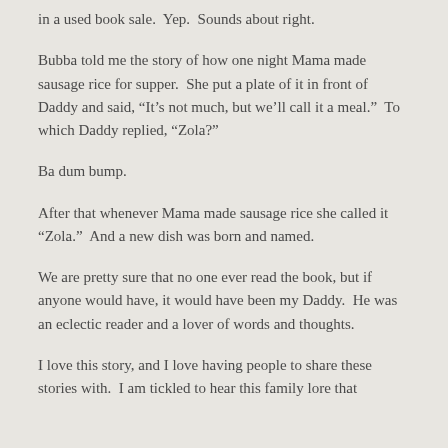in a used book sale.  Yep.  Sounds about right.
Bubba told me the story of how one night Mama made sausage rice for supper.  She put a plate of it in front of Daddy and said, “It’s not much, but we’ll call it a meal.”  To which Daddy replied, “Zola?”
Ba dum bump.
After that whenever Mama made sausage rice she called it “Zola.”  And a new dish was born and named.
We are pretty sure that no one ever read the book, but if anyone would have, it would have been my Daddy.  He was an eclectic reader and a lover of words and thoughts.
I love this story, and I love having people to share these stories with.  I am tickled to hear this family lore that